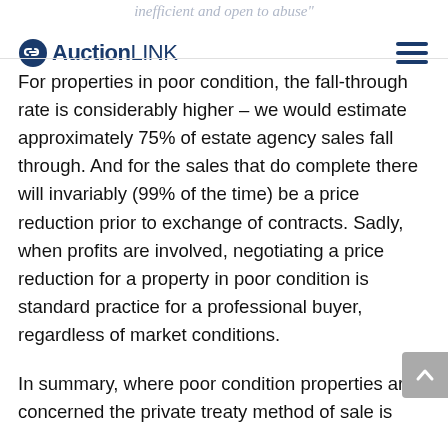inefficient and open to abuse"
[Figure (logo): AuctionLINK logo with circular icon and hamburger menu icon]
For properties in poor condition, the fall-through rate is considerably higher – we would estimate approximately 75% of estate agency sales fall through. And for the sales that do complete there will invariably (99% of the time) be a price reduction prior to exchange of contracts. Sadly, when profits are involved, negotiating a price reduction for a property in poor condition is standard practice for a professional buyer, regardless of market conditions.
In summary, where poor condition properties are concerned the private treaty method of sale is